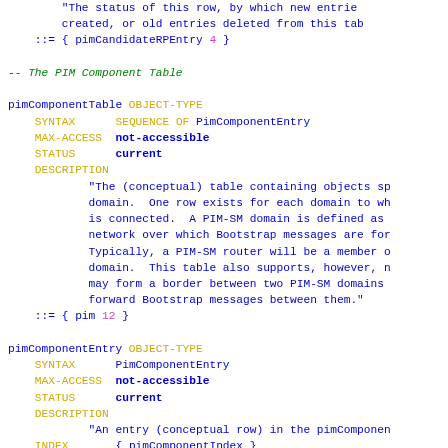"The status of this row, by which new entries created, or old entries deleted from this tab
::= { pimCandidateRPEntry 4 }
-- The PIM Component Table
pimComponentTable OBJECT-TYPE
    SYNTAX      SEQUENCE OF PimComponentEntry
    MAX-ACCESS  not-accessible
    STATUS      current
    DESCRIPTION
            "The (conceptual) table containing objects sp domain.  One row exists for each domain to wh is connected.  A PIM-SM domain is defined as network over which Bootstrap messages are for Typically, a PIM-SM router will be a member o domain.  This table also supports, however, n may form a border between two PIM-SM domains forward Bootstrap messages between them."
    ::= { pim 12 }
pimComponentEntry OBJECT-TYPE
    SYNTAX      PimComponentEntry
    MAX-ACCESS  not-accessible
    STATUS      current
    DESCRIPTION
            "An entry (conceptual row) in the pimComponen
    INDEX       { pimComponentIndex }
    ::= { pimComponentTable 1 }